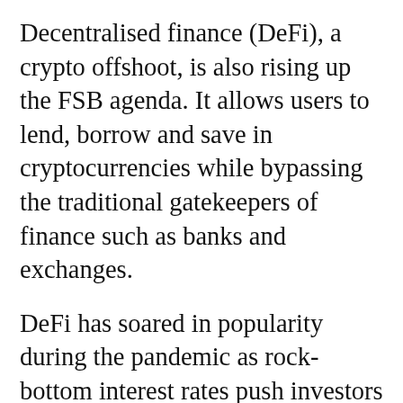Decentralised finance (DeFi), a crypto offshoot, is also rising up the FSB agenda. It allows users to lend, borrow and save in cryptocurrencies while bypassing the traditional gatekeepers of finance such as banks and exchanges.
DeFi has soared in popularity during the pandemic as rock-bottom interest rates push investors to search for yield. DeFi has become a magnet for scams and other crime, throwing up additional challenges for regulators.
'Without sufficient regulation and market oversight, DeFi and associated platforms might present risks to financial stability,' the